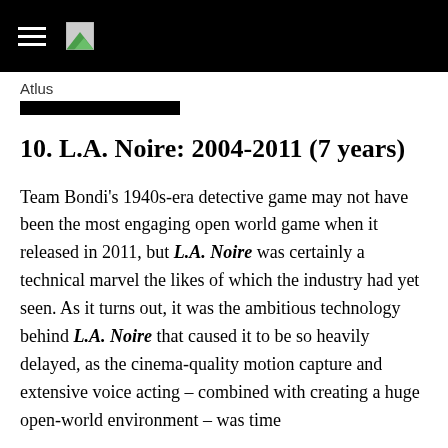Atlus
10. L.A. Noire: 2004-2011 (7 years)
Team Bondi’s 1940s-era detective game may not have been the most engaging open world game when it released in 2011, but L.A. Noire was certainly a technical marvel the likes of which the industry had yet seen. As it turns out, it was the ambitious technology behind L.A. Noire that caused it to be so heavily delayed, as the cinema-quality motion capture and extensive voice acting – combined with creating a huge open-world environment – was time